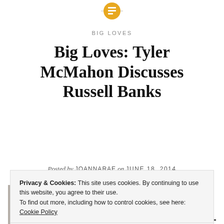[Figure (logo): Orange/yellow circular icon with document/lines symbol at top center]
BIG LOVES
Big Loves: Tyler McMahon Discusses Russell Banks
Posted by JOANNARAE on JUNE 18, 2014
[Figure (photo): Partial photo of a person (appears to be an older man, head visible)]
Today's contributor to our Big
Privacy & Cookies: This site uses cookies. By continuing to use this website, you agree to their use.
To find out more, including how to control cookies, see here: Cookie Policy
Close and accept
Martins, 2011/ and Kilometer